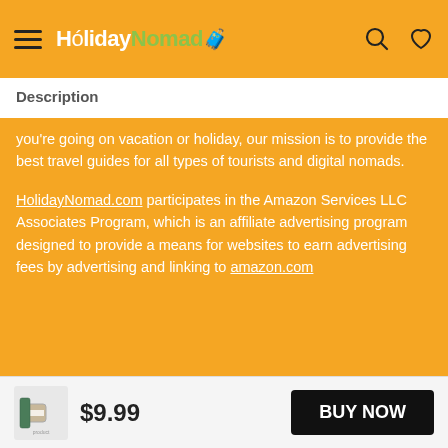HolidayNomad (navigation header with hamburger menu, logo, search and heart icons)
Description
you're going on vacation or holiday, our mission is to provide the best travel guides for all types of tourists and digital nomads.
HolidayNomad.com participates in the Amazon Services LLC Associates Program, which is an affiliate advertising program designed to provide a means for websites to earn advertising fees by advertising and linking to amazon.com
Product categories
$9.99
BUY NOW